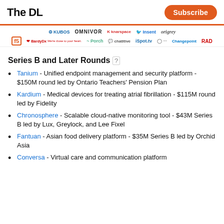The DL | Subscribe
[Figure (logo): Row of company logos: Kubos, Omnivor, Knarspace, Insent, Origrey]
[Figure (logo): Row of company logos: F5, BardyDx, Porch, chatitive, iSpot.tv, dots, Changepoint, RAD]
Series B and Later Rounds
Tanium - Unified endpoint management and security platform - $150M round led by Ontario Teachers' Pension Plan
Kardium - Medical devices for treating atrial fibrillation - $115M round led by Fidelity
Chronosphere - Scalable cloud-native monitoring tool - $43M Series B led by Lux, Greylock, and Lee Fixel
Fantuan - Asian food delivery platform - $35M Series B led by Orchid Asia
Conversa - Virtual care and communication platform